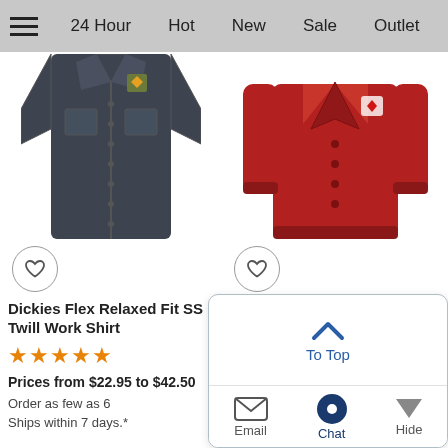24 Hour  Hot  New  Sale  Outlet
[Figure (photo): Dark gray short-sleeve work shirt with breast pockets]
[Figure (photo): Red V-neck button-down cardigan sweater]
Dickies Flex Relaxed Fit SS Twill Work Shirt
★★★★★
Prices from $22.95 to $42.50
Order as few as 6
Ships within 7 days.*
Pilbloc V-Neck Button Down Cardigan Sweater - Men's
★★★★☆
Prices from $22.25 t
Order as few as 6
Ships within 7 days.*
[Figure (screenshot): To Top popup button with Email, Chat, Hide actions]